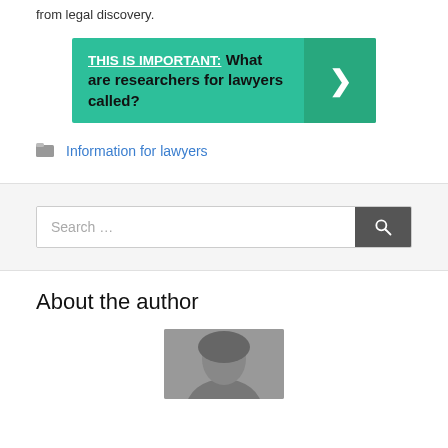from legal discovery.
[Figure (infographic): Green banner with bold text: THIS IS IMPORTANT: What are researchers for lawyers called? with a right arrow chevron on the right side.]
Information for lawyers
[Figure (screenshot): Search bar with placeholder text 'Search ...' and a dark grey search button with a magnifying glass icon.]
About the author
[Figure (photo): Partial photo of a person, showing the top of their head/hair.]